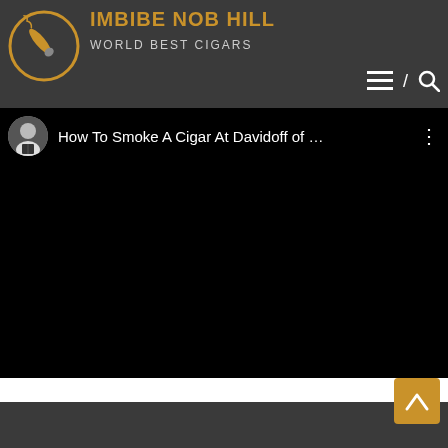IMBIBE NOB HILL — WORLD BEST CIGARS
[Figure (screenshot): Website header with circular cigar logo, site title IMBIBE NOB HILL in gold, subtitle WORLD BEST CIGARS, hamburger menu and search icons]
[Figure (screenshot): YouTube-style video player showing black screen with title 'How To Smoke A Cigar At Davidoff of ...' and a user avatar thumbnail]
[Figure (other): Back-to-top button in gold/orange color with upward arrow]